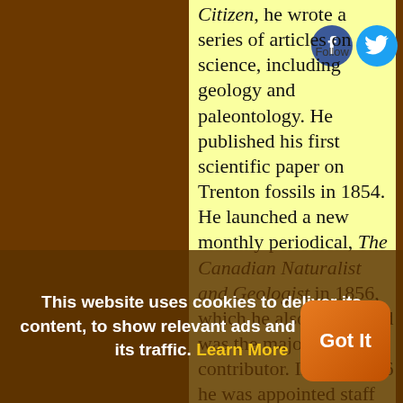Citizen, he wrote a series of articles on science, including geology and paleontology. He published his first scientific paper on Trenton fossils in 1854. He launched a new monthly periodical, The Canadian Naturalist and Geologist in 1856, which he also edited and was the major contributor. In Aug 1856 he was appointed staff
This website uses cookies to deliver its content, to show relevant ads and to analyze its traffic. Learn More